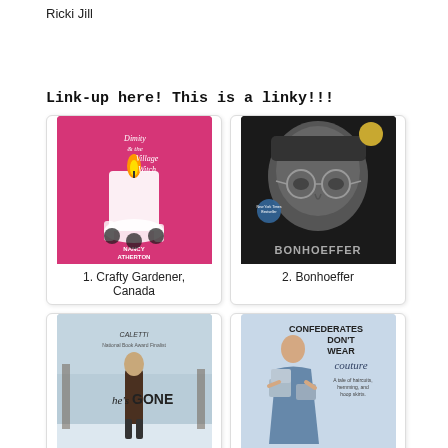Ricki Jill
Link-up here!  This is a linky!!!
[Figure (illustration): Book cover: Dimity & the Village Witch by Nancy Atherton, pink cover with candle illustration]
1. Crafty Gardener, Canada
[Figure (illustration): Book cover: Bonhoeffer, black and white portrait photo of man with glasses]
2. Bonhoeffer
[Figure (illustration): Book cover: He's Gone by Caletti, winter scene with figure]
3. He's Gone
[Figure (illustration): Book cover: Confederates Don't Wear Couture, light blue cover with woman carrying boxes]
4. Beth @ Living a Goddess Life